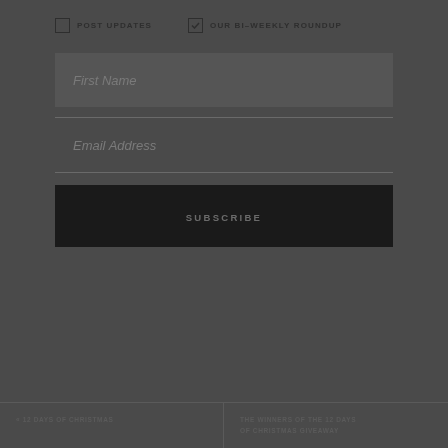POST UPDATES
OUR BI-WEEKLY ROUNDUP
First Name
Email Address
SUBSCRIBE
<< 12 DAYS OF CHRISTMAS
THE WINNERS OF THE 12 DAYS OF CHRISTMAS GIVEAWAY